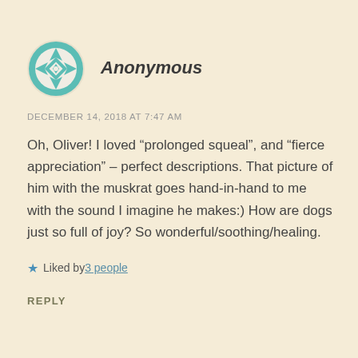[Figure (illustration): Teal/turquoise geometric kaleidoscope-style avatar icon in a circle]
Anonymous
DECEMBER 14, 2018 AT 7:47 AM
Oh, Oliver! I loved “prolonged squeal”, and “fierce appreciation” – perfect descriptions. That picture of him with the muskrat goes hand-in-hand to me with the sound I imagine he makes:) How are dogs just so full of joy? So wonderful/soothing/healing.
★ Liked by 3 people
REPLY